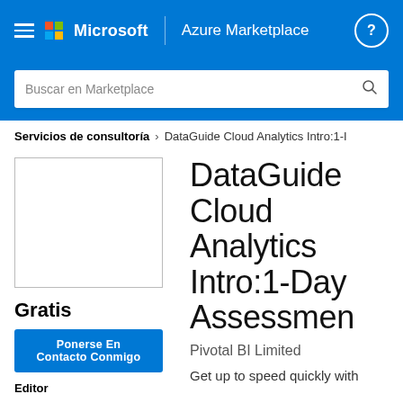Microsoft | Azure Marketplace
Buscar en Marketplace
Servicios de consultoría > DataGuide Cloud Analytics Intro:1-I
[Figure (other): Empty white product image box with border]
Gratis
Ponerse En Contacto Conmigo
Editor
DataGuide Cloud Analytics Intro:1-Day Assessment
Pivotal BI Limited
Get up to speed quickly with